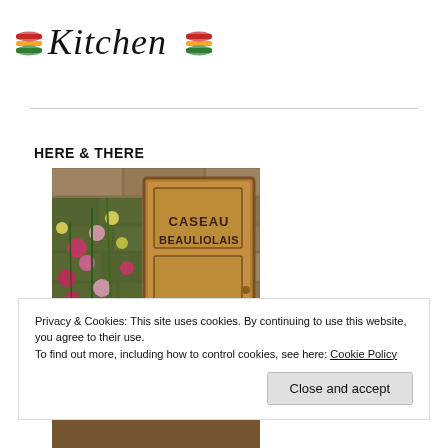[Figure (logo): Stylized script logo reading 'Kitchen' with small burger/hat icons on either side]
HERE & THERE
[Figure (photo): A wooden door with 'CASEAU BEAULIOLAIS' text, surrounded by flowering plants against a stone wall]
Privacy & Cookies: This site uses cookies. By continuing to use this website, you agree to their use.
To find out more, including how to control cookies, see here: Cookie Policy
Close and accept